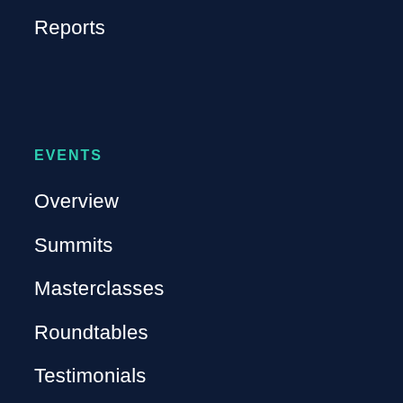Reports
EVENTS
Overview
Summits
Masterclasses
Roundtables
Testimonials
ADVISORY
Advisory Clients
Overview
Testimonials